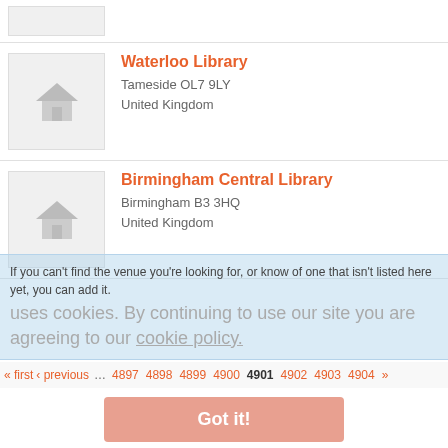[Figure (screenshot): Partial listing row at top with thumbnail placeholder]
Waterloo Library
Tameside OL7 9LY
United Kingdom
Birmingham Central Library
Birmingham B3 3HQ
United Kingdom
If you can't find the venue you're looking for, or know of one that isn't listed here yet, you can add it.
uses cookies. By continuing to use our site you are agreeing to our cookie policy.
« first  ‹ previous  …  4897  4898  4899  4900  4901  4902  4903  4904  »
Got it!